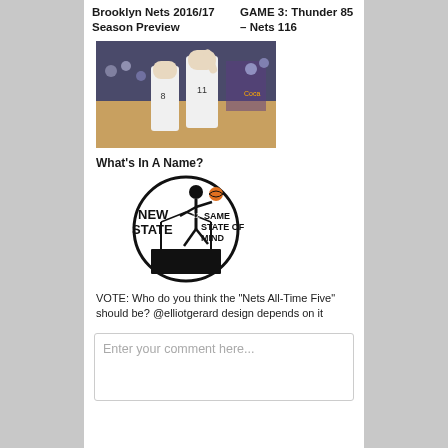Brooklyn Nets 2016/17 Season Preview
GAME 3: Thunder 85 – Nets 116
[Figure (photo): Basketball players in white jerseys high-fiving on court, crowd in background]
What's In A Name?
[Figure (logo): Circular logo with basketball player dunking, text reading NEW STATE, SAME STATE OF MIND with Brooklyn bridge silhouette]
VOTE: Who do you think the "Nets All-Time Five" should be? @elliotgerard design depends on it
Enter your comment here...